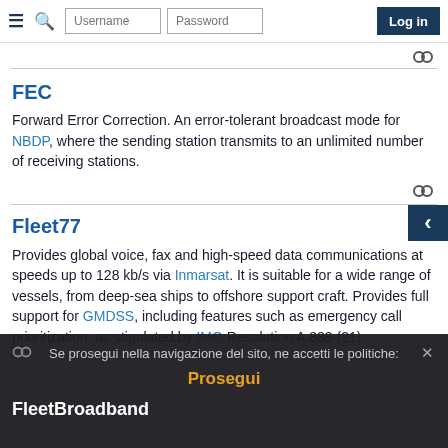Navigation bar with hamburger menu, search icon, Username field, Password field, Log in button
FEC
Forward Error Correction. An error-tolerant broadcast mode for NBDP, where the sending station transmits to an unlimited number of receiving stations.
Fleet77
Provides global voice, fax and high-speed data communications at speeds up to 128 kb/s via Inmarsat. It is suitable for a wide range of vessels, from deep-sea ships to offshore support craft. Provides full support for GMDSS, including features such as emergency call prioritization, as stipulated by IMO Resolution A.888 (21).
FleetBroadband
Se prosegui nella navigazione del sito, ne accetti le politiche:
Prosegui